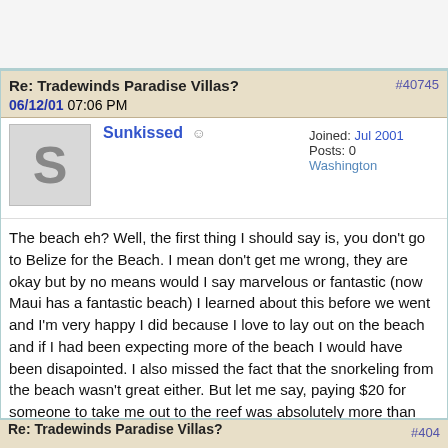Re: Tradewinds Paradise Villas? #40745 06/12/01 07:06 PM
Sunkissed Joined: Jul 2001 Posts: 0 Washington
The beach eh? Well, the first thing I should say is, you don't go to Belize for the Beach. I mean don't get me wrong, they are okay but by no means would I say marvelous or fantastic (now Maui has a fantastic beach) I learned about this before we went and I'm very happy I did because I love to lay out on the beach and if I had been expecting more of the beach I would have been disapointed. I also missed the fact that the snorkeling from the beach wasn't great either. But let me say, paying $20 for someone to take me out to the reef was absolutely more than worth it. March was our first trip to A.C. and even though the the beach wasn't perfect, everything else was great and we defintely will be going back. I had a trip report called "Paradise Withdrawls" you could do a search if you like. But by no means worry about it, you will have a "fantistic" time.